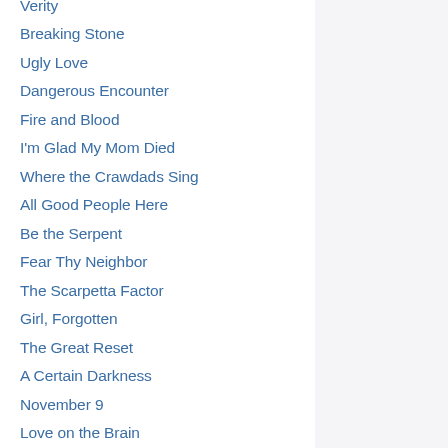Verity
Breaking Stone
Ugly Love
Dangerous Encounter
Fire and Blood
I'm Glad My Mom Died
Where the Crawdads Sing
All Good People Here
Be the Serpent
Fear Thy Neighbor
The Scarpetta Factor
Girl, Forgotten
The Great Reset
A Certain Darkness
November 9
Love on the Brain
Daisy Darker
Saving Amanda
The 6:20 Man
Wrong Place Wrong Time
Other Birds